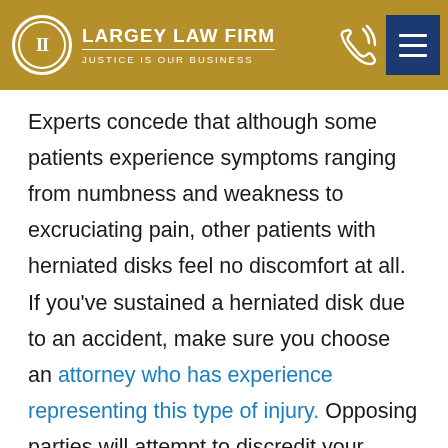Largey Law Firm — Justice Is Our Business
Experts concede that although some patients experience symptoms ranging from numbness and weakness to excruciating pain, other patients with herniated disks feel no discomfort at all. If you've sustained a herniated disk due to an accident, make sure you choose an attorney who has experience representing this type of injury. Opposing parties will attempt to discredit your testimony and paint you as an opportunist looking for a payoff. At Largey Law, we know how to deal with such strategies. Our seasoned Mount Dora herniated disk lawyers work diligently to